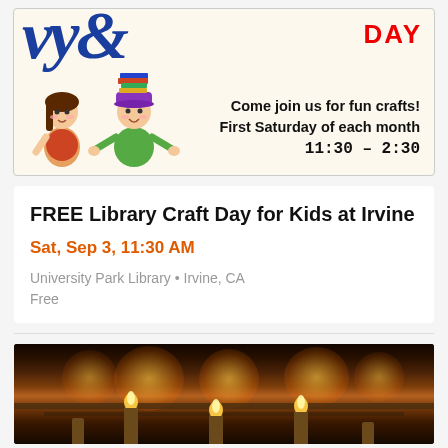[Figure (illustration): Library Craft Day banner with cursive blue text, red DAY label, cartoon children (girl and boy with books on head), and bold text: Come join us for fun crafts! First Saturday of each month 11:30 - 2:30]
FREE Library Craft Day for Kids at Irvine
Sat, Sep 3, 11:30 AM
University Park Library • Irvine, CA
Free
[Figure (photo): Dark atmospheric photo showing candles and warm golden lighting, appears to be an indoor candlelit setting]